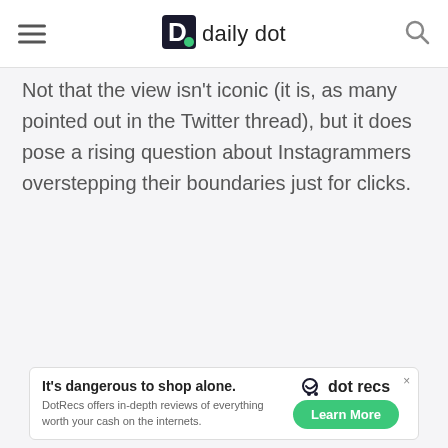daily dot
Not that the view isn't iconic (it is, as many pointed out in the Twitter thread), but it does pose a rising question about Instagrammers overstepping their boundaries just for clicks.
[Figure (screenshot): Advertisement banner for DotRecs: 'It's dangerous to shop alone. DotRecs offers in-depth reviews of everything worth your cash on the internets.' with a Learn More button.]